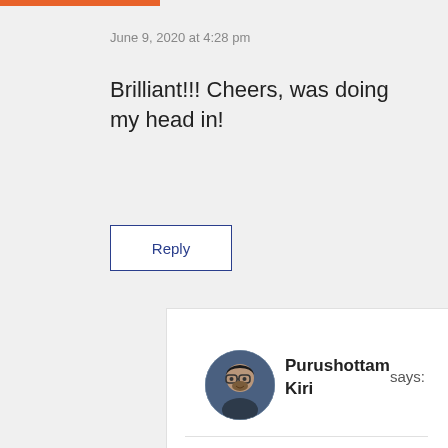June 9, 2020 at 4:28 pm
Brilliant!!! Cheers, was doing my head in!
Reply
Purushottam Kiri says:
[Figure (photo): Circular avatar photo of Purushottam Kiri, a man with glasses and beard]
June 9, 2020 at 4:45 pm